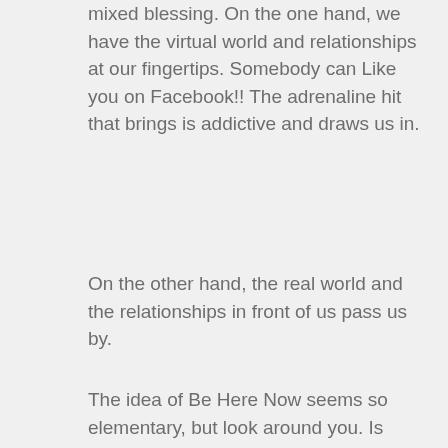mixed blessing. On the one hand, we have the virtual world and relationships at our fingertips. Somebody can Like you on Facebook!! The adrenaline hit that brings is addictive and draws us in.
On the other hand, the real world and the relationships in front of us pass us by.
The idea of Be Here Now seems so elementary, but look around you. Is anyone in your line of vision enjoying the present moment-the coffee in their hand, the smile on the face of the clerk, the breeze that ruffles their hair? Or are they absorbed in the otherness of their phone?
Are you?
As we constantly look to “the next thing,” we miss relating to what IS. As a therapist, I am constantly